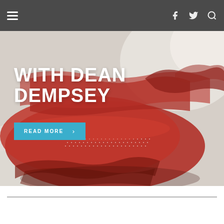Navigation bar with hamburger menu, Facebook, Twitter, and Search icons
[Figure (photo): Close-up photo of red burlap or mesh fabric draped and textured on a white canvas surface, with visible weave and frayed edges, colors ranging from deep crimson to lighter coral-red]
WITH DEAN DEMPSEY
READ MORE >